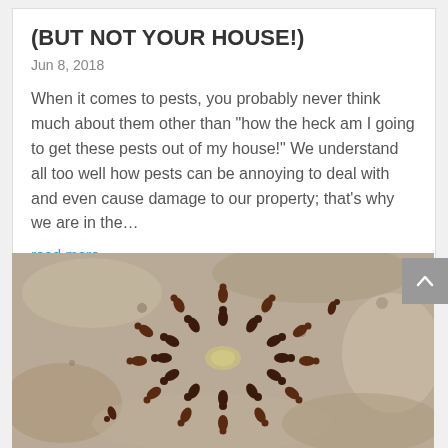PESTS THAT ARE GOOD FOR THE WORLD (BUT NOT YOUR HOUSE!)
Jun 8, 2018
When it comes to pests, you probably never think much about them other than "how the heck am I going to get these pests out of my house!" We understand all too well how pests can be annoying to deal with and even cause damage to our property; that's why we are in the...
read more
[Figure (photo): Close-up photograph of many red/brown ants gathered in a circular pattern on a rough stone or concrete surface, appearing to be feeding on something in the center.]